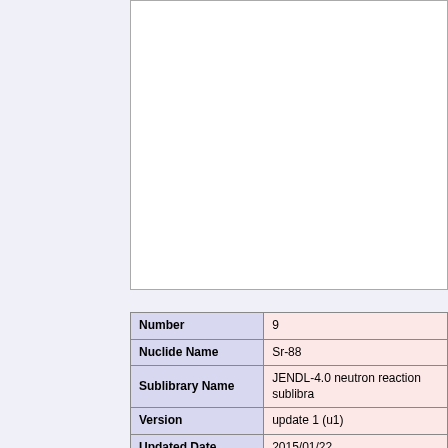[Figure (other): White rectangular box at top, partially visible, with border]
|  |  |
| --- | --- |
| Number | 9 |
| Nuclide Name | Sr-88 |
| Sublibrary Name | JENDL-4.0 neutron reaction sublibra |
| Version | update 1 (u1) |
| Updated Date | 2015/01/22 |
| Update File | Sr088_20150122.j40u1 |
| Mainly revised part | Resolved resonance parameters |